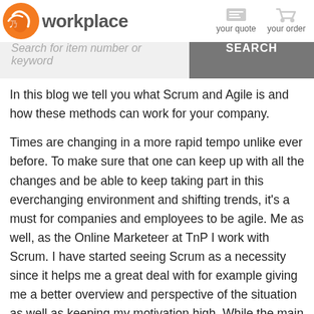workplace | your quote | your order
Search for item number or keyword
In this blog we tell you what Scrum and Agile is and how these methods can work for your company.
Times are changing in a more rapid tempo unlike ever before. To make sure that one can keep up with all the changes and be able to keep taking part in this everchanging environment and shifting trends, it's a must for companies and employees to be agile. Me as well, as the Online Marketeer at TnP I work with Scrum. I have started seeing Scrum as a necessity since it helps me a great deal with for example giving me a better overview and perspective of the situation as well as keeping my motivation high. While the main benefit of scum is that you can spread a large product over multiple, various other tasks, the extra motivation gained from it is a great external factor. I no longer